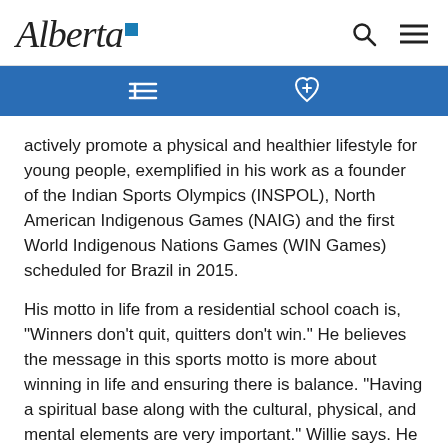Alberta [logo]
actively promote a physical and healthier lifestyle for young people, exemplified in his work as a founder of the Indian Sports Olympics (INSPOL), North American Indigenous Games (NAIG) and the first World Indigenous Nations Games (WIN Games) scheduled for Brazil in 2015.
His motto in life from a residential school coach is, "Winners don't quit, quitters don't win." He believes the message in this sports motto is more about winning in life and ensuring there is balance. "Having a spiritual base along with the cultural, physical, and mental elements are very important." Willie says. He